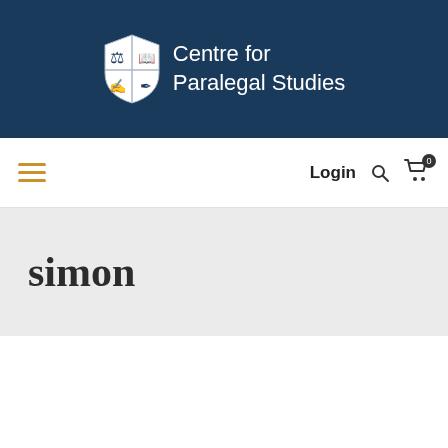[Figure (logo): Centre for Paralegal Studies logo with shield emblem and white text on navy blue header]
Login
simon